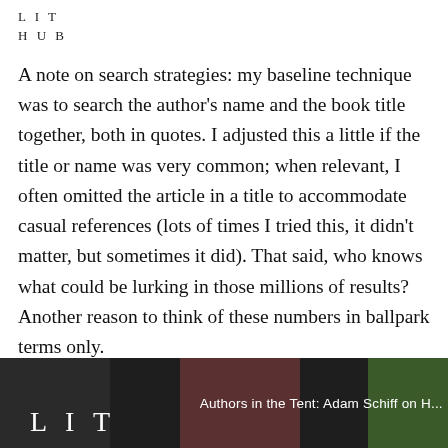L I T
H U B
A note on search strategies: my baseline technique was to search the author's name and the book title together, both in quotes. I adjusted this a little if the title or name was very common; when relevant, I often omitted the article in a title to accommodate casual references (lots of times I tried this, it didn't matter, but sometimes it did). That said, who knows what could be lurking in those millions of results? Another reason to think of these numbers in ballpark terms only.
[Figure (screenshot): Video thumbnail at bottom of page showing dark background with 'L I T' logo text in white and overlay text 'Authors in the Tent: Adam Schiff on H...']